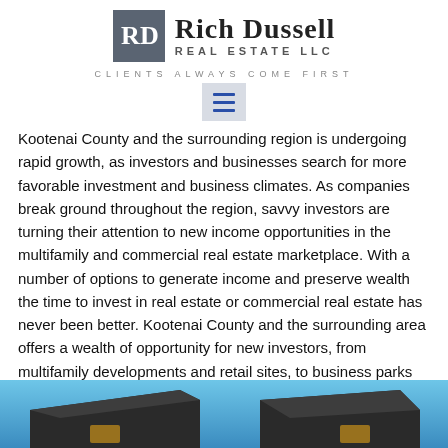Rich Dussell Real Estate LLC — Clients Always Come First
Kootenai County and the surrounding region is undergoing rapid growth, as investors and businesses search for more favorable investment and business climates. As companies break ground throughout the region, savvy investors are turning their attention to new income opportunities in the multifamily and commercial real estate marketplace. With a number of options to generate income and preserve wealth the time to invest in real estate or commercial real estate has never been better. Kootenai County and the surrounding area offers a wealth of opportunity for new investors, from multifamily developments and retail sites, to business parks and downtown high rises.
[Figure (photo): Exterior architectural photo of a building with a dark roof overhang against a blue sky]